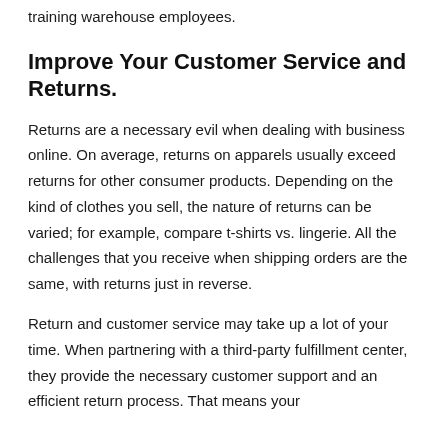training warehouse employees.
Improve Your Customer Service and Returns.
Returns are a necessary evil when dealing with business online. On average, returns on apparels usually exceed returns for other consumer products. Depending on the kind of clothes you sell, the nature of returns can be varied; for example, compare t-shirts vs. lingerie. All the challenges that you receive when shipping orders are the same, with returns just in reverse.
Return and customer service may take up a lot of your time. When partnering with a third-party fulfillment center, they provide the necessary customer support and an efficient return process. That means your